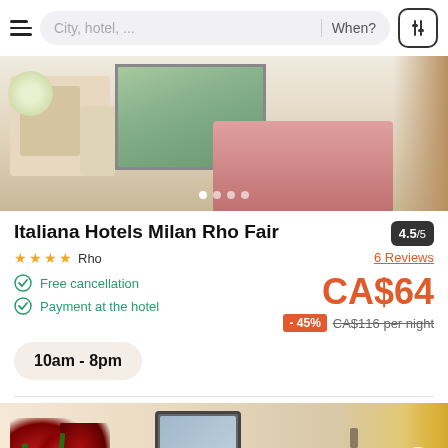City, hotel, ... | When?
[Figure (photo): Hotel room photo showing a bed with pink/red bedding, dining table with chairs, large window with garden view, and curtains]
Italiana Hotels Milan Rho Fair
4.5/5
★★★★ Rho
6 Reviews
Free cancellation
Payment at the hotel
CA$64
-45% CA$116 per night
10am - 8pm
[Figure (photo): Hotel room photo showing red roses in foreground, a TV screen on wall, wall lamp, and gold curtain on right side]